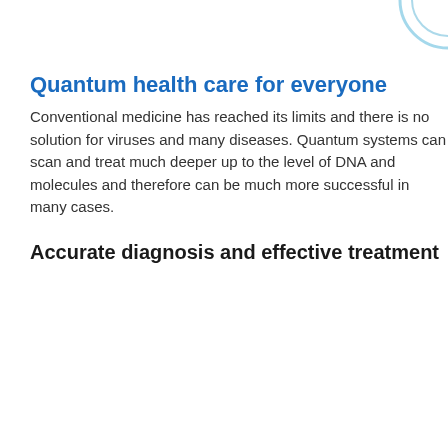[Figure (illustration): Decorative circular arc/rings in light blue in the top-right corner of the page]
Quantum health care for everyone
Conventional medicine has reached its limits and there is no solution for viruses and many diseases. Quantum systems can scan and treat much deeper up to the level of DNA and molecules and therefore can be much more successful in many cases.
Accurate diagnosis and effective treatment